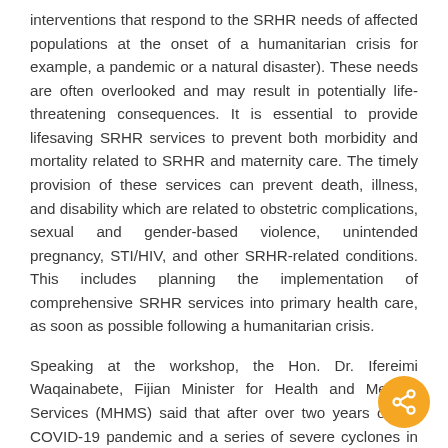interventions that respond to the SRHR needs of affected populations at the onset of a humanitarian crisis for example, a pandemic or a natural disaster). These needs are often overlooked and may result in potentially life-threatening consequences. It is essential to provide lifesaving SRHR services to prevent both morbidity and mortality related to SRHR and maternity care. The timely provision of these services can prevent death, illness, and disability which are related to obstetric complications, sexual and gender-based violence, unintended pregnancy, STI/HIV, and other SRHR-related conditions. This includes planning the implementation of comprehensive SRHR services into primary health care, as soon as possible following a humanitarian crisis.
Speaking at the workshop, the Hon. Dr. Ifereimi Waqainabete, Fijian Minister for Health and Medical Services (MHMS) said that after over two years of the COVID-19 pandemic and a series of severe cyclones in Fiji, the year 2022 is critical for improving the lives women and youth in Fiji and around the world.